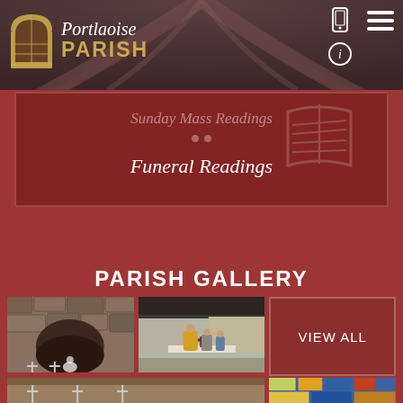[Figure (screenshot): Portlaoise Parish website header with logo showing an arched window icon and text 'Portlaoise PARISH', navigation icons (mobile, info, hamburger menu) on the right, and an arch/ceiling background image]
Sunday Mass Readings
Funeral Readings
PARISH GALLERY
[Figure (photo): Stone grotto with crosses and a religious figure]
[Figure (photo): Outdoor parish ceremony with priest in vestments at an altar under a canopy]
VIEW ALL
[Figure (photo): Church interior or exterior partial view]
[Figure (photo): Religious mosaic or artwork with figures]